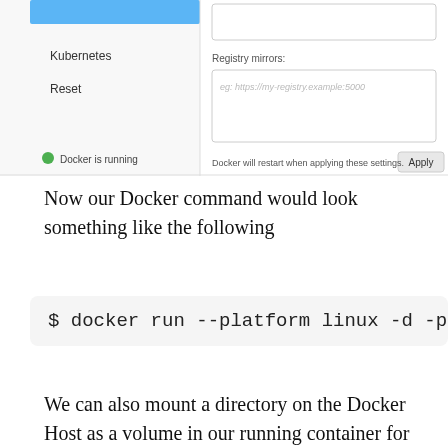[Figure (screenshot): Docker Desktop settings screenshot showing Kubernetes and Reset menu items on the left sidebar, Registry mirrors input field, 'Docker is running' status indicator, and Apply button]
Now our Docker command would look something like the following
$ docker run --platform linux -d -p 3001::
We can also mount a directory on the Docker Host as a volume in our running container for our Ghost content(Database, Images etc), we can mount this volume at the same location where Ghost stores content by default i.e. "/var/lib/ghost/content". This requires no configuration changes, the other option is to mount it elsewhere and set